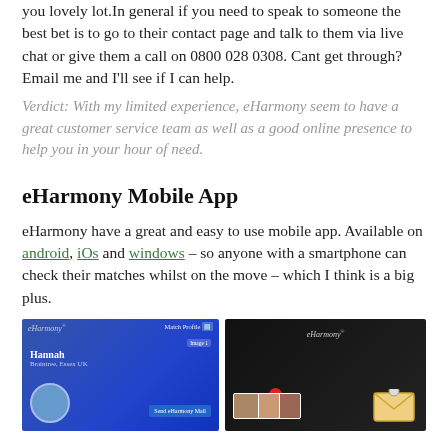you lovely lot. In general if you need to speak to someone the best bet is to go to their contact page and talk to them via live chat or give them a call on 0800 028 0308. Cant get through? Email me and I'll see if I can help.
Verdict: With my limited experience, eHarmony seem to have a great customer service team as well as a good online presence to help you in your hour of need.
eHarmony Mobile App
eHarmony have a great and easy to use mobile app. Available on android, iOs and windows – so anyone with a smartphone can check their matches whilst on the move – which I think is a big plus.
[Figure (screenshot): Two eHarmony mobile app screenshots side by side. Left shows a match profile for Hannah from Braintree, Essex UK with a blue interface. Right shows the eHarmony app home screen on a dark background with photo thumbnails and an envelope icon.]